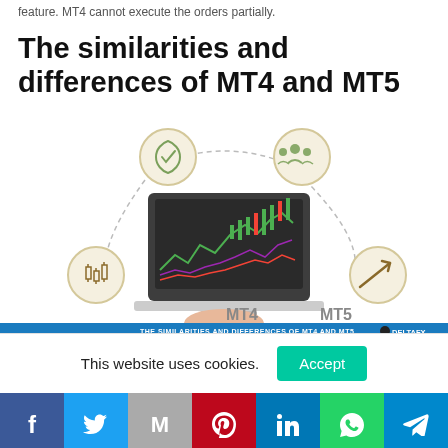feature. MT4 cannot execute the orders partially.
The similarities and differences of MT4 and MT5
[Figure (infographic): Infographic showing MT4 vs MT5 comparison with icons (shield/checkmark, people, candlestick chart, trend arrow) arranged around a laptop displaying trading charts. Labels MT4 and MT5 appear at bottom. DeltaFX branding at bottom with banner text THE SIMILARITIES AND DIFFERENCES OF MT4 AND MT5.]
This website uses cookies.
[Figure (other): Social sharing bar with Facebook, Twitter, Gmail/Google, Pinterest, LinkedIn, WhatsApp, and Telegram buttons]